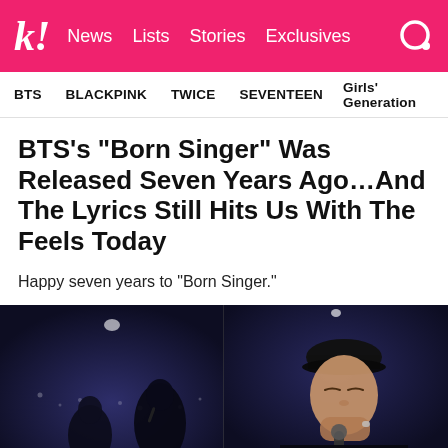k! News Lists Stories Exclusives
BTS   BLACKPINK   TWICE   SEVENTEEN   Girls' Generation
BTS’s “Born Singer” Was Released Seven Years Ago…And The Lyrics Still Hits Us With The Feels Today
Happy seven years to “Born Singer.”
[Figure (photo): Two side-by-side photos of BTS members performing on stage in dark lighting, one holding a microphone close to face with eyes closed wearing a black cap, another in black outfit on stage with bokeh lights in background]